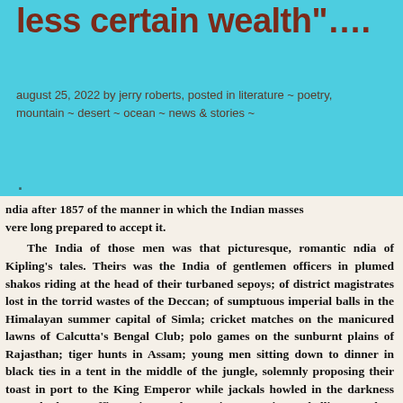less certain wealth"….
august 25, 2022 by jerry roberts, posted in literature ~ poetry, mountain ~ desert ~ ocean ~ news & stories ~
.
[Figure (photo): A photograph of a printed book page with bold serif text describing colonial India — references to Kipling's tales, gentlemen officers in plumed shakos, district magistrates, the Deccan, Simla, Calcutta's Bengal Club, Rajasthan, Assam, and Pathan tribesmen on the Frontier.]